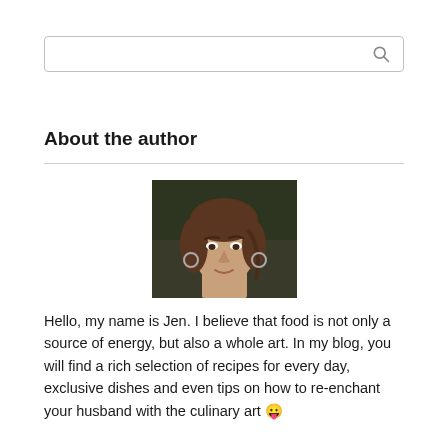[Figure (other): Search input box with magnifying glass icon on the right]
About the author
[Figure (photo): Portrait photo of a woman with brown hair, hoop earrings, looking forward]
Hello, my name is Jen. I believe that food is not only a source of energy, but also a whole art. In my blog, you will find a rich selection of recipes for every day, exclusive dishes and even tips on how to re-enchant your husband with the culinary art 😛